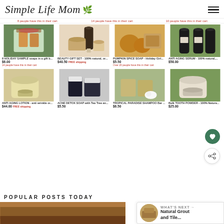Simple Life Mom
8 people have this in their cart | 14 people have this in their cart | 10 people have this in their cart
[Figure (screenshot): Product grid showing 8 natural/handmade products: holiday sample soaps, beauty gift set, pumpkin spice soap, anti aging serum, anti aging lotion, acne detox soap, tropical paradise shampoo bar, bulk tooth powder]
8 HOLIDAY SAMPLE soaps in a gift b... $6.00 | BEAUTY GIFT SET - 100% natural, or... $40.50 FREE shipping | PUMPKIN SPICE SOAP - Holiday Girl... $5.50 Over 20 people have this in their cart | ANTI AGING SERUM - 100% natural,... $58.00
ANTI AGING LOTION - anti wrinkle or... $44.00 FREE shipping | ACNE DETOX SOAP with Tea Tree an... $5.50 | TROPICAL PARADISE SHAMPOO Bar... $6.50 | Bulk TOOTH POWDER - 100% Natura... $25.00
POPULAR POSTS TODAY
WHAT'S NEXT → Natural Grout and Tile...